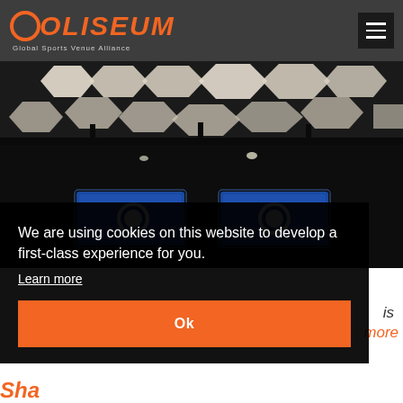COLISEUM — Global Sports Venue Alliance
[Figure (photo): Interior of a sports media/press conference room with hexagonal ceiling light panels in black and white, blue display screens with a team crest/logo visible, dark ambiance suggesting a professional sports venue broadcast or press area.]
We are using cookies on this website to develop a first-class experience for you.
Learn more
Ok
is
more
Sha...